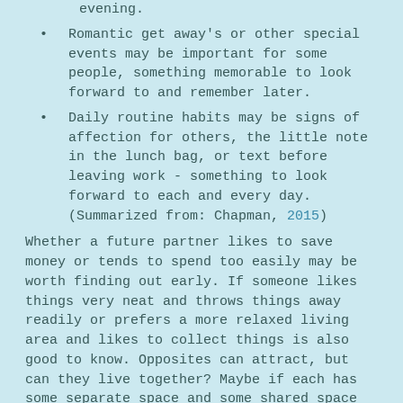evening.
Romantic get away's or other special events may be important for some people, something memorable to look forward to and remember later.
Daily routine habits may be signs of affection for others, the little note in the lunch bag, or text before leaving work - something to look forward to each and every day. (Summarized from: Chapman, 2015)
Whether a future partner likes to save money or tends to spend too easily may be worth finding out early. If someone likes things very neat and throws things away readily or prefers a more relaxed living area and likes to collect things is also good to know. Opposites can attract, but can they live together? Maybe if each has some separate space and some shared space and a willingness to discuss things rather than letting resentment collect instead.
For more questions to consider...